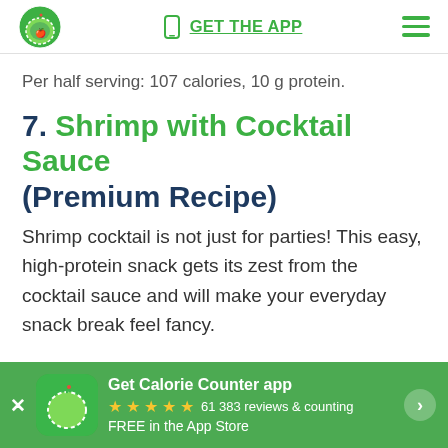GET THE APP
Per half serving: 107 calories, 10 g protein.
7. Shrimp with Cocktail Sauce (Premium Recipe)
Shrimp cocktail is not just for parties! This easy, high-protein snack gets its zest from the cocktail sauce and will make your everyday snack break feel fancy.
Get Calorie Counter app ★★★★★ 61 383 reviews & counting FREE in the App Store